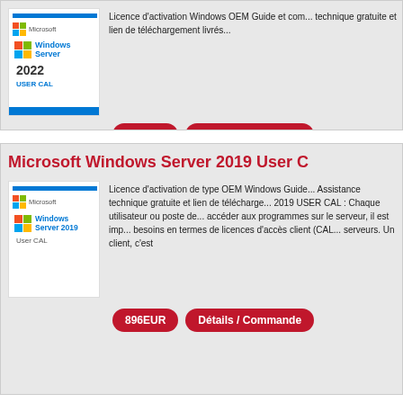[Figure (illustration): Windows Server 2022 USER CAL product box image with Microsoft logo, blue Windows flag icon, product name and blue bar at bottom]
Licence d'activation Windows OEM Guide et com... technique gratuite et lien de téléchargement livrés...
201EUR
Détails / Commande
Microsoft Windows Server 2019 User C...
[Figure (illustration): Windows Server 2019 User CAL product box image with Microsoft logo, blue Windows flag icon, product name]
Licence d'activation de type OEM Windows Guide... Assistance technique gratuite et lien de télécharge... 2019 USER CAL : Chaque utilisateur ou poste de... accéder aux programmes sur le serveur, il est imp... besoins en termes de licences d'accès client (CAL... serveurs. Un client, c'est
896EUR
Détails / Commande